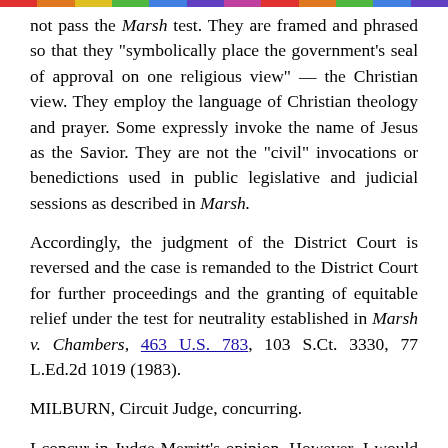not pass the Marsh test. They are framed and phrased so that they "symbolically place the government's seal of approval on one religious view" — the Christian view. They employ the language of Christian theology and prayer. Some expressly invoke the name of Jesus as the Savior. They are not the "civil" invocations or benedictions used in public legislative and judicial sessions as described in Marsh.
Accordingly, the judgment of the District Court is reversed and the case is remanded to the District Court for further proceedings and the granting of equitable relief under the test for neutrality established in Marsh v. Chambers, 463 U.S. 783, 103 S.Ct. 3330, 77 L.Ed.2d 1019 (1983).
MILBURN, Circuit Judge, concurring.
I concur in Judge Merritt's opinion. However, I would point out that we can take judicial notice